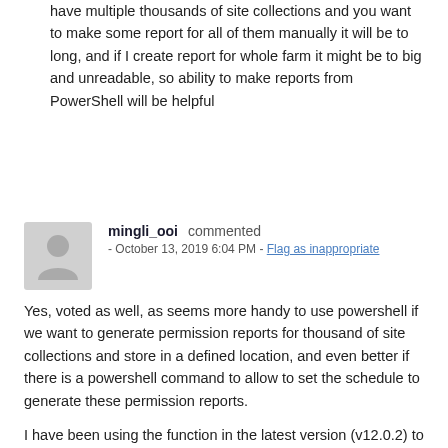have multiple thousands of site collections and you want to make some report for all of them manually it will be to long, and if I create report for whole farm it might be to big and unreadable, so ability to make reports from PowerShell will be helpful
mingli_ooi commented
- October 13, 2019 6:04 PM - Flag as inappropriate
Yes, voted as well, as seems more handy to use powershell if we want to generate permission reports for thousand of site collections and store in a defined location, and even better if there is a powershell command to allow to set the schedule to generate these permission reports.
I have been using the function in the latest version (v12.0.2) to schedule the generation of